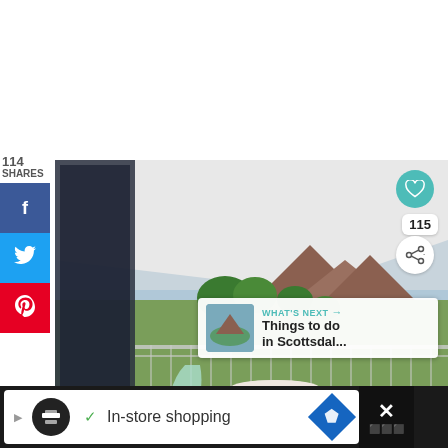114
SHARES
[Figure (photo): Hotel or resort room balcony/patio view looking out over a golf course lawn with trees and Camelback Mountain or similar rocky desert mountain in the background, overcast sky. Interior shows sliding glass door and patio furniture.]
115
WHAT'S NEXT → Things to do in Scottsdale...
In-store shopping